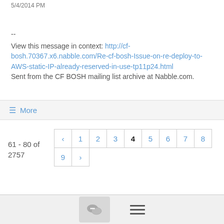5/4/2014 PM
--
View this message in context: http://cf-bosh.70367.x6.nabble.com/Re-cf-bosh-Issue-on-re-deploy-to-AWS-static-IP-already-reserved-in-use-tp11p24.html
Sent from the CF BOSH mailing list archive at Nabble.com.
≡ More
61 - 80 of 2757
< 1 2 3 4 5 6 7 8 9 >